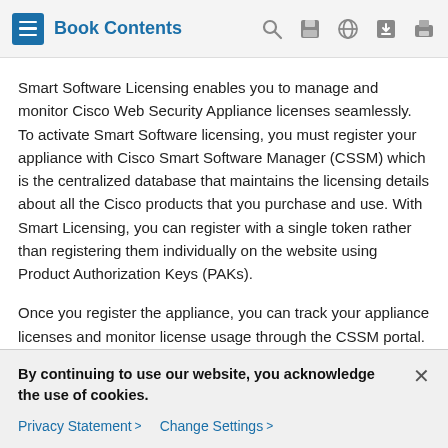Book Contents
Smart Software Licensing enables you to manage and monitor Cisco Web Security Appliance licenses seamlessly. To activate Smart Software licensing, you must register your appliance with Cisco Smart Software Manager (CSSM) which is the centralized database that maintains the licensing details about all the Cisco products that you purchase and use. With Smart Licensing, you can register with a single token rather than registering them individually on the website using Product Authorization Keys (PAKs).
Once you register the appliance, you can track your appliance licenses and monitor license usage through the CSSM portal. The Smart Agent installed on the appliance connects the appliance with CSSM and passes the license usage information
By continuing to use our website, you acknowledge the use of cookies.
Privacy Statement > Change Settings >